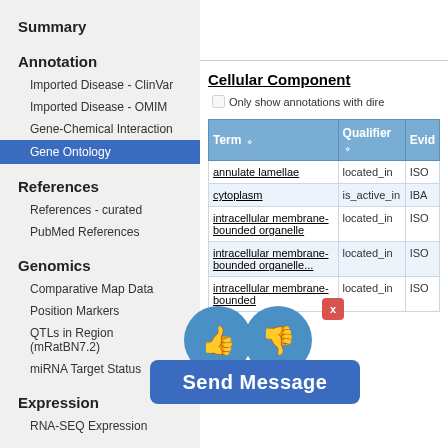Summary
Annotation
Imported Disease - ClinVar
Imported Disease - OMIM
Gene-Chemical Interaction
Gene Ontology
References
References - curated
PubMed References
Genomics
Comparative Map Data
Position Markers
QTLs in Region (mRatBN7.2)
miRNA Target Status
Expression
RNA-SEQ Expression
Sequence
Cellular Component
Only show annotations with dire
| Term | Qualifier | Evid |
| --- | --- | --- |
| annulate lamellae | located_in | ISO |
| cytoplasm | is_active_in | IBA |
| intracellular membrane-bounded organelle | located_in | ISO |
| intracellular membrane-bounded organelle | located_in | ISO |
| intracellular membrane-bounded | located_in | ISO |
[Figure (other): Thumbs up and thumbs down feedback icons with close button overlay on the table]
Send Message